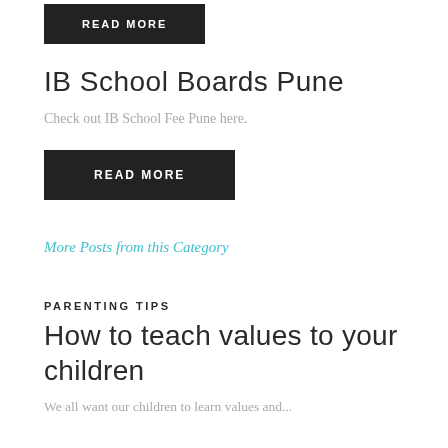READ MORE
IB School Boards Pune
Check out IB School Fee Pune here.
READ MORE
More Posts from this Category
PARENTING TIPS
How to teach values to your children
We all want our children to learn values and...